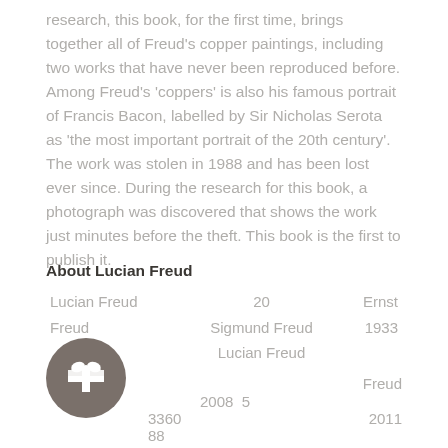research, this book, for the first time, brings together all of Freud's copper paintings, including two works that have never been reproduced before. Among Freud's 'coppers' is also his famous portrait of Francis Bacon, labelled by Sir Nicholas Serota as 'the most important portrait of the 20th century'. The work was stolen in 1988 and has been lost ever since. During the research for this book, a photograph was discovered that shows the work just minutes before the theft. This book is the first to publish it.
About Lucian Freud
Lucian Freud   20   Ernst
Freud   Sigmund Freud   1933
   Lucian Freud
[Figure (illustration): Circular dark grey icon with a white gift box symbol]
Freud
2008  5
3360   2011
88